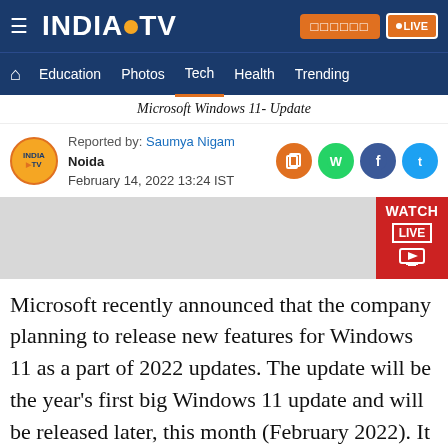INDIA TV — Navigation: Education, Photos, Tech, Health, Trending
Microsoft Windows 11- Update
Reported by: Saumya Nigam
Noida
February 14, 2022 13:24 IST
[Figure (other): Watch Live banner with gray background and red Watch Live button]
Microsoft recently announced that the company planning to release new features for Windows 11 as a part of 2022 updates. The update will be the year's first big Windows 11 update and will be released later, this month (February 2022). It is reported by the company that they have started to test the changes